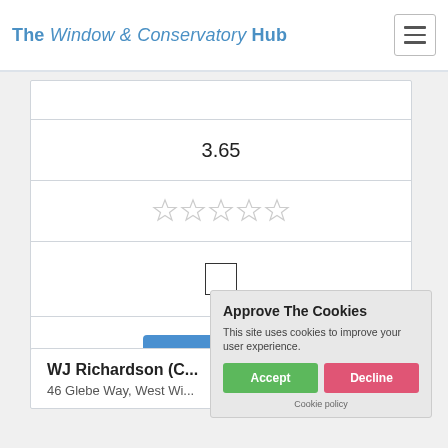The Window & Conservatory Hub
3.65
[Figure (other): Five empty star rating icons]
[Figure (other): Empty checkbox input]
Get a Quote
WJ Richardson (C...
46 Glebe Way, West Wi...
Approve The Cookies
This site uses cookies to improve your user experience.
Accept
Decline
Cookie policy